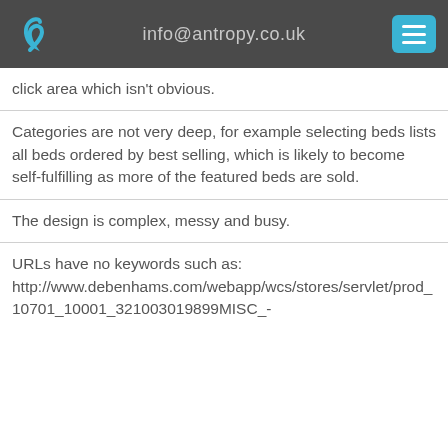info@antropy.co.uk
click area which isn't obvious.
Categories are not very deep, for example selecting beds lists all beds ordered by best selling, which is likely to become self-fulfilling as more of the featured beds are sold.
The design is complex, messy and busy.
URLs have no keywords such as: http://www.debenhams.com/webapp/wcs/stores/servlet/prod_10701_10001_321003019899MISC_-